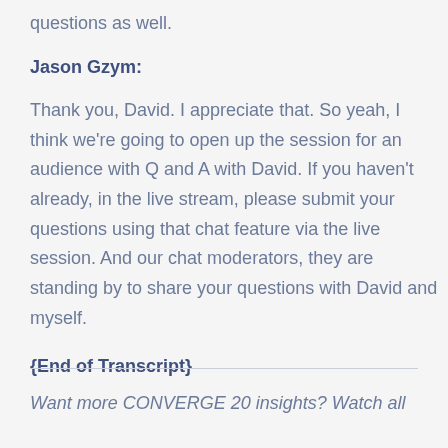questions as well.
Jason Gzym:
Thank you, David. I appreciate that. So yeah, I think we're going to open up the session for an audience with Q and A with David. If you haven't already, in the live stream, please submit your questions using that chat feature via the live session. And our chat moderators, they are standing by to share your questions with David and myself.
{End of Transcript}
Want more CONVERGE 20 insights? Watch all